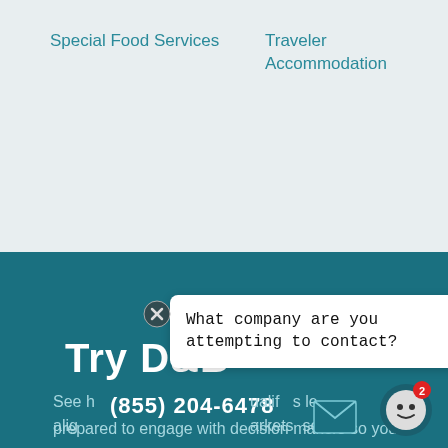Special Food Services
Traveler Accommodation
[Figure (screenshot): Chat popup overlay with close button, showing message: 'What company are you attempting to contact?']
Try D&B
See h... alig...
(855) 204-6478
ualif... arkets...
[Figure (illustration): Email envelope icon button]
[Figure (illustration): Chat bot face icon with red notification badge showing '2']
prepared to engage with decision makers so you